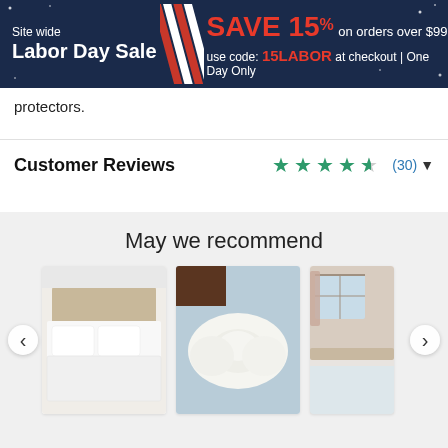[Figure (other): Site wide Labor Day Sale promotional banner — SAVE 15% on orders over $99, use code: 15LABOR at checkout | One Day Only]
protectors.
Customer Reviews ★★★★½ (30) ▾
May we recommend
[Figure (photo): Product carousel with three product cards: a bed with white bedding, a white ergonomic pillow on blue background, and a bedroom scene with bed and curtains. Left and right navigation arrows visible.]